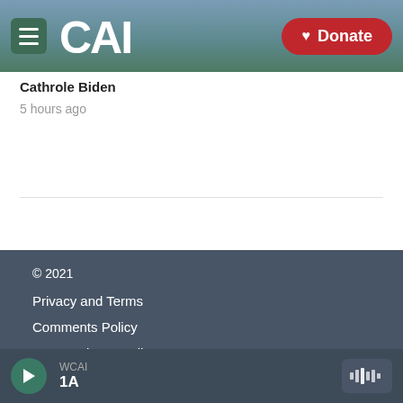CAI — Donate
Cathrole Biden
5 hours ago
© 2021
Privacy and Terms
Comments Policy
Donor Privacy Policy
WCAI 1A